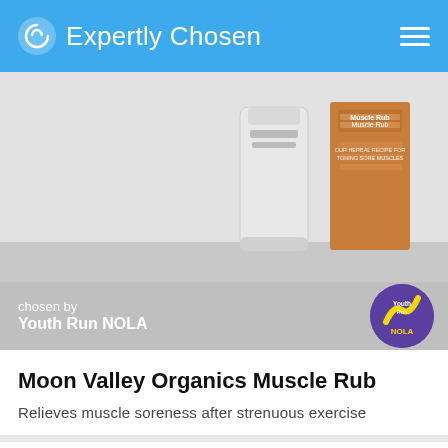Expertly Chosen
[Figure (photo): Product photo showing Moon Valley Organics Muscle Rub tube and orange box on a light grey/white surface]
chosen by
Youth Run NOLA
Moon Valley Organics Muscle Rub
Relieves muscle soreness after strenuous exercise
[Figure (photo): Partial view of water bottles/sports bottles with yellow-green caps on a white background with a star/bookmark button in upper right]